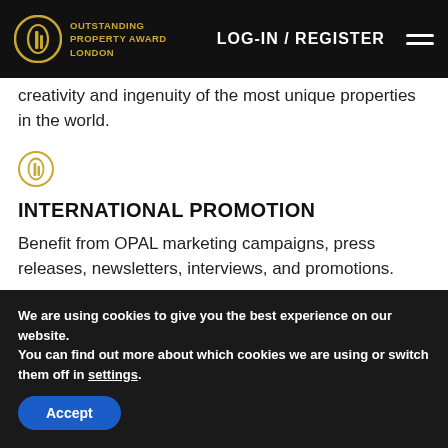OUTSTANDING PROPERTY AWARD LONDON | LOG-IN / REGISTER
creativity and ingenuity of the most unique properties in the world.
[Figure (logo): OPAL gold circle icon]
INTERNATIONAL PROMOTION
Benefit from OPAL marketing campaigns, press releases, newsletters, interviews, and promotions.
[Figure (logo): OPAL gold circle icon (second)]
We are using cookies to give you the best experience on our website.
You can find out more about which cookies we are using or switch them off in settings.